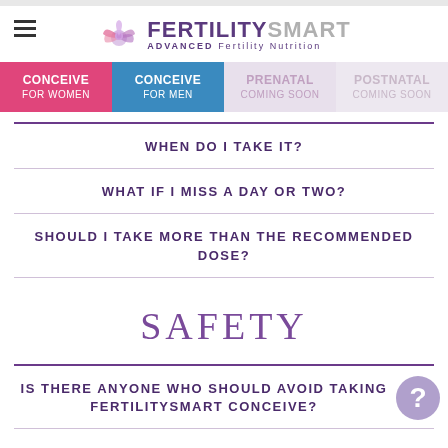[Figure (logo): FertilitySmart logo with lotus/hands icon and text 'FERTILITYSMART ADVANCED Fertility Nutrition']
CONCEIVE FOR WOMEN | CONCEIVE FOR MEN | PRENATAL COMING SOON | POSTNATAL COMING SOON
WHEN DO I TAKE IT?
WHAT IF I MISS A DAY OR TWO?
SHOULD I TAKE MORE THAN THE RECOMMENDED DOSE?
SAFETY
IS THERE ANYONE WHO SHOULD AVOID TAKING FERTILITYSMART CONCEIVE?